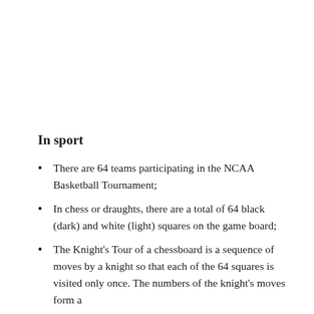In sport
There are 64 teams participating in the NCAA Basketball Tournament;
In chess or draughts, there are a total of 64 black (dark) and white (light) squares on the game board;
The Knight's Tour of a chessboard is a sequence of moves by a knight so that each of the 64 squares is visited only once. The numbers of the knight's moves form a